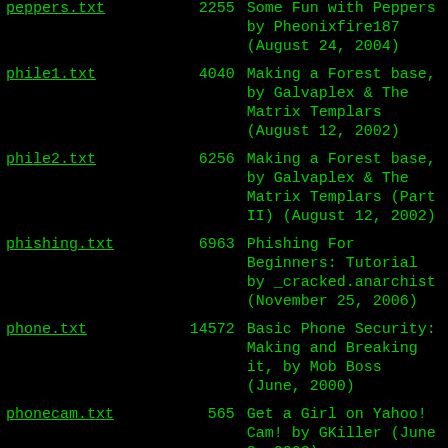| Filename | Size | Description |
| --- | --- | --- |
| peppers.txt | 2255 | Some Fun with Peppers by Pheonixfire187 (August 24, 2004) |
| phile1.txt | 4040 | Making a Forest base, by Galvaplex & The Matrix Templars (August 12, 2002) |
| phile2.txt | 6256 | Making a Forest base, by Galvaplex & The Matrix Templars (Part II) (August 12, 2002) |
| phishing.txt | 6963 | Phishing For Beginners: Tutorial by _cracked.anarchist (November 25, 2006) |
| phone.txt | 14572 | Basic Phone Security: Making and Breaking it, by Mob Boss (June, 2000) |
| phonecam.txt | 565 | Get a Girl on Yahoo! Cam! by GKiller (June 2, 2003) |
| phonemodding.txt | 3067 | Phone Modding, by Phil (March, 2004) |
| phones.txt | 993 | How to Bash Phones for Profit, by Sab0tage and M0nk of the 231Boyz (June |